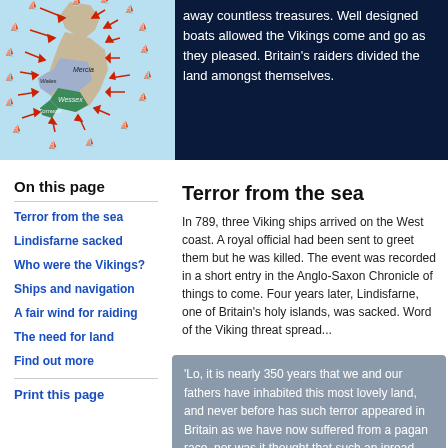[Figure (map): Map of Britain showing Viking raid routes with red arrows pointing inward from the sea, and regions labeled including Mercia, Wales, Wessex, Cornwall. Different regions colored in tan, blue-grey, and green.]
away countless treasures. Well designed boats allowed the Vikings come and go as they pleased. Britain's raiders divided the land amongst themselves.
On this page
Terror from the sea
Lindisfarne sacked
Who were the Vikings?
Ships and navigation
A fair wind for raiding
The need for land
Find out more
Print this page
Terror from the sea
In 789, three Viking ships arrived on the West coast. A royal official had been sent to greet them but he was killed. The event was recorded in a short entry in the Anglo-Saxon Chronicle of things to come. Four years later, Lindisfarne, one of Britain's holy islands, was sacked. Word of the Viking threat spread...
'Lo, it is nearly 350 years that we and our fathers have inhabited this most lovely land, and never before has such terror appeared in Britain as we have now suffered from a pagan race, nor was it thought that such an inroad from the sea could be made. Behold the church of St Cuthbert spattered of the priest of God...